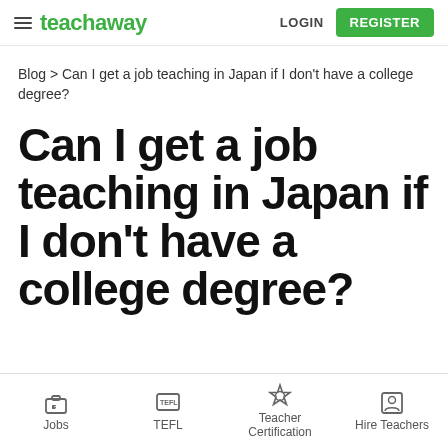teachaway  LOGIN  REGISTER
Blog > Can I get a job teaching in Japan if I don't have a college degree?
Can I get a job teaching in Japan if I don't have a college degree?
Jobs   TEFL   Teacher Certification   Hire Teachers